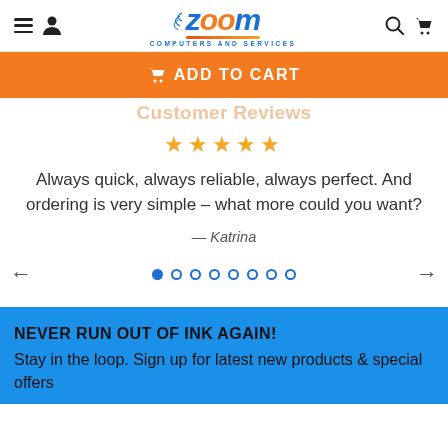Zoom Computers and Services
[Figure (other): Orange ADD TO CART button with cart icon]
Customer Reviews
[Figure (other): Five gold stars rating]
Always quick, always reliable, always perfect. And ordering is very simple – what more could you want?
— Katrina
[Figure (other): Carousel navigation: left arrow, 8 dots (first filled), right arrow]
NEVER RUN OUT OF INK AGAIN!
Stay in the loop. Sign up for latest new products & special offers